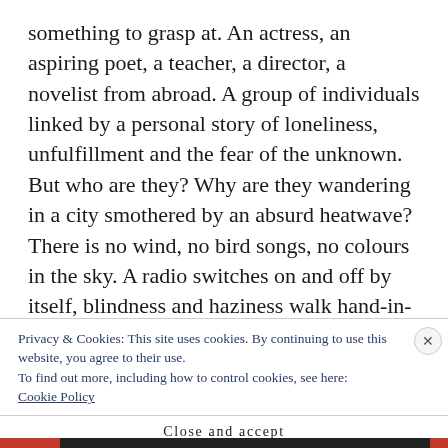something to grasp at. An actress, an aspiring poet, a teacher, a director, a novelist from abroad. A group of individuals linked by a personal story of loneliness, unfulfillment and the fear of the unknown. But who are they? Why are they wandering in a city smothered by an absurd heatwave? There is no wind, no bird songs, no colours in the sky. A radio switches on and off by itself, blindness and haziness walk hand-in-hand with surreal dreams. apparitions. faces with scars and
Privacy & Cookies: This site uses cookies. By continuing to use this website, you agree to their use.
To find out more, including how to control cookies, see here:
Cookie Policy
Close and accept